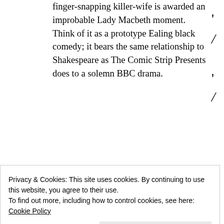finger-snapping killer-wife is awarded an improbable Lady Macbeth moment. Think of it as a prototype Ealing black comedy; it bears the same relationship to Shakespeare as The Comic Strip Presents does to a solemn BBC drama.
Not least because this is a thoroughly middle-class tale. It could come straight out of a modern tabloid, and Findlay makes Arden (Ian Redford, splendidly fat-cat) not only a 21c property man but owner of a warehouse packing up terrible gold
Privacy & Cookies: This site uses cookies. By continuing to use this website, you agree to their use.
To find out more, including how to control cookies, see here: Cookie Policy
garish outfits and men-high aquamarine